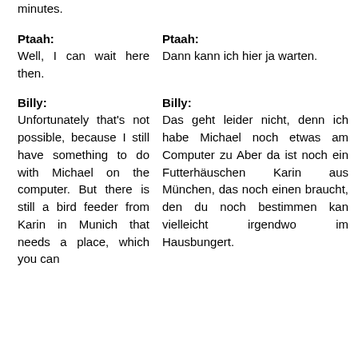minutes.
Ptaah: Well, I can wait here then.
Ptaah: Dann kann ich hier ja warten.
Billy: Unfortunately that's not possible, because I still have something to do with Michael on the computer. But there is still a bird feeder from Karin in Munich that needs a place, which you can
Billy: Das geht leider nicht, denn ich habe Michael noch etwas am Computer zu Aber da ist noch ein Futterhäuschen Karin aus München, das noch einen braucht, den du noch bestimmen kan vielleicht irgendwo im Hausbungert.